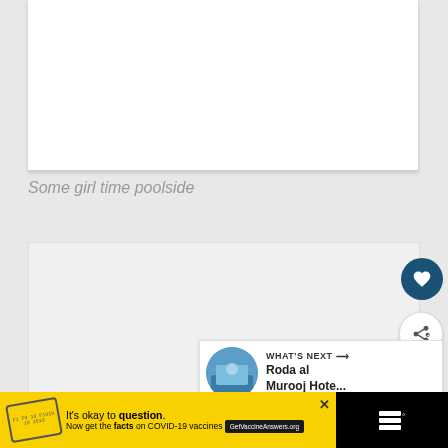[Figure (photo): White/blank image placeholder at top, appears to be a photo of poolside scene (content not visible due to cropping)]
Some girl time poolside
[Figure (photo): Second image placeholder, partially visible with heart (like) button and share button overlaid. A 'WHAT'S NEXT' panel shows 'Roda al Murooj Hote...' with a circular thumbnail.]
WHAT'S NEXT → Roda al Murooj Hote...
It's okay to question. Now get the facts on COVID-19 vaccines GetVaccineAnswers.org